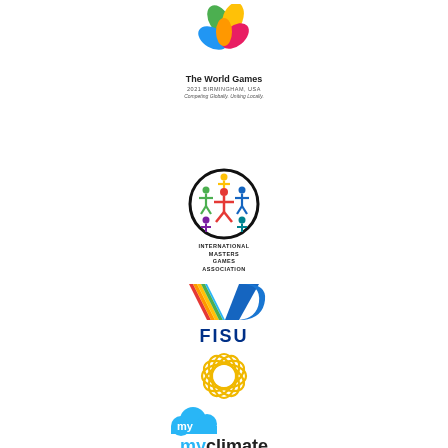[Figure (logo): The World Games 2021 Birmingham USA logo with colorful leaf shapes. Text: The World Games, 2021 BIRMINGHAM, USA, Competing Globally. Uniting Locally.]
[Figure (logo): International Masters Games Association (IMGA) circular logo with colorful stick figures. Text: INTERNATIONAL MASTERS GAMES ASSOCIATION]
[Figure (logo): FISU logo with multicolored V-shape. Text: FISU]
[Figure (logo): Golden circular flower/mandala pattern logo made of overlapping oval rings]
[Figure (logo): myclimate logo with blue cloud shape and text: myclimate, shape our future]